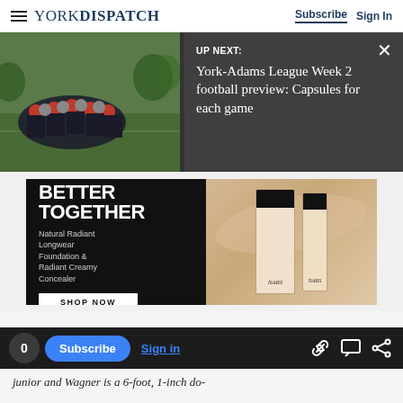YORK DISPATCH | Subscribe  Sign In
[Figure (screenshot): Up Next overlay banner with football game photo background and dark overlay reading: UP NEXT: York-Adams League Week 2 football preview: Capsules for each game]
[Figure (photo): Advertisement for NARS cosmetics: BETTER TOGETHER - Natural Radiant Longwear Foundation & Radiant Creamy Concealer - SHOP NOW button, with product images on beige background]
[Figure (screenshot): Bottom toolbar with counter badge showing 0, Subscribe button, Sign in link, and share/comment/link icons]
junior and Wagner is a 6-foot, 1-inch do-